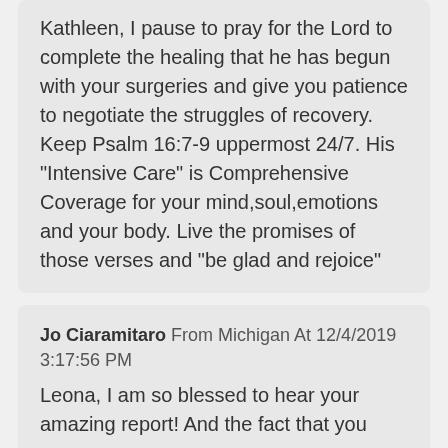Kathleen, I pause to pray for the Lord to complete the healing that he has begun with your surgeries and give you patience to negotiate the struggles of recovery. Keep Psalm 16:7-9 uppermost 24/7. His "Intensive Care" is Comprehensive Coverage for your mind,soul,emotions and your body. Live the promises of those verses and "be glad and rejoice"
Jo Ciaramitaro From Michigan At 12/4/2019 3:17:56 PM
Leona, I am so blessed to hear your amazing report! And the fact that you